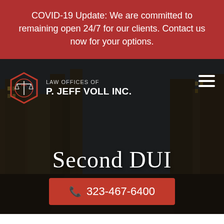COVID-19 Update: We are committed to remaining open 24/7 for our clients. Contact us now for your options.
[Figure (screenshot): Hero section of a law firm website showing a dark-overlaid vintage city street photo background with law firm logo, hamburger navigation menu, page title 'Second DUI', and a phone number call-to-action button.]
Second DUI
323-467-6400